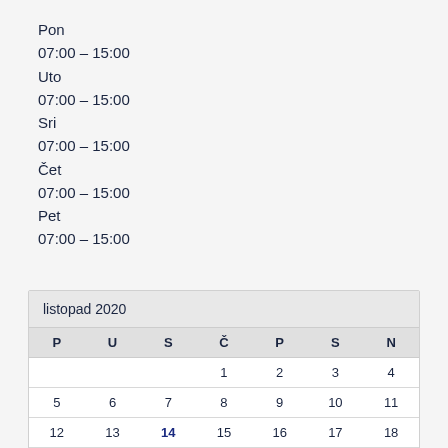Pon
07:00 – 15:00
Uto
07:00 – 15:00
Sri
07:00 – 15:00
Čet
07:00 – 15:00
Pet
07:00 – 15:00
| P | U | S | Č | P | S | N |
| --- | --- | --- | --- | --- | --- | --- |
|  |  |  | 1 | 2 | 3 | 4 |
| 5 | 6 | 7 | 8 | 9 | 10 | 11 |
| 12 | 13 | 14 | 15 | 16 | 17 | 18 |